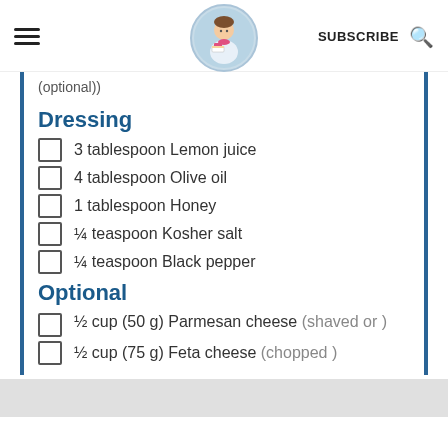SUBSCRIBE (logo: From Amanda)
(optional))
Dressing
3 tablespoon Lemon juice
4 tablespoon Olive oil
1 tablespoon Honey
¼ teaspoon Kosher salt
¼ teaspoon Black pepper
Optional
½ cup (50 g) Parmesan cheese (shaved or )
½ cup (75 g) Feta cheese (chopped )